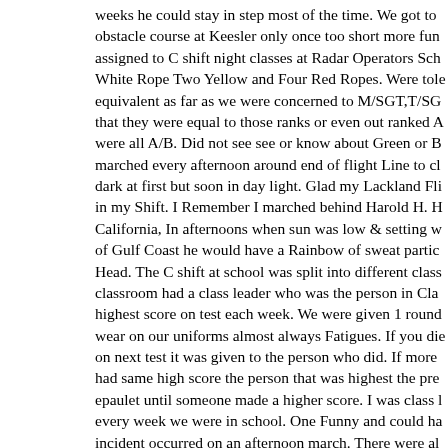weeks he could stay in step most of the time. We got to obstacle course at Keesler only once too short more fun assigned to C shift night classes at Radar Operators Sch White Rope Two Yellow and Four Red Ropes. Were tole equivalent as far as we were concerned to M/SGT,T/SG that they were equal to those ranks or even out ranked A were all A/B. Did not see see or know about Green or B marched every afternoon around end of flight Line to cl dark at first but soon in day light. Glad my Lackland Fli in my Shift. I Remember I marched behind Harold H. H California, In afternoons when sun was low & setting w of Gulf Coast he would have a Rainbow of sweat partic Head. The C shift at school was split into different class classroom had a class leader who was the person in Cla highest score on test each week. We were given 1 round wear on our uniforms almost always Fatigues. If you die on next test it was given to the person who did. If more had same high score the person that was highest the pre epaulet until someone made a higher score. I was class l every week we were in school. One Funny and could ha incident occurred on an afternoon march. There were al Lieutenants that marched the C Shift to Class and back Area. One Afternoon we had two 2nd Lt`s they decided march around the end of the flight line to get to classes s find them a short cut. They called Flight Operations to s